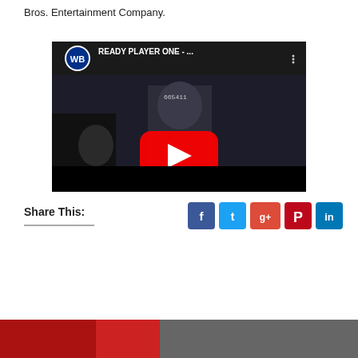Bros. Entertainment Company.
[Figure (screenshot): YouTube video embed showing Ready Player One trailer with WB logo, title 'READY PLAYER ONE - ...' and red play button overlay on a dark movie scene with soldiers.]
Share This:
[Figure (screenshot): Bottom partial image cropped at page edge, showing partial colorful scene.]